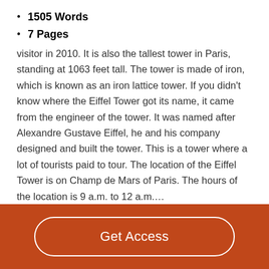1505 Words
7 Pages
visitor in 2010. It is also the tallest tower in Paris, standing at 1063 feet tall. The tower is made of iron, which is known as an iron lattice tower. If you didn't know where the Eiffel Tower got its name, it came from the engineer of the tower. It was named after Alexandre Gustave Eiffel, he and his company designed and built the tower. This is a tower where a lot of tourists paid to tour. The location of the Eiffel Tower is on Champ de Mars of Paris. The hours of the location is 9 a.m. to 12 a.m....
Read More
Get Access